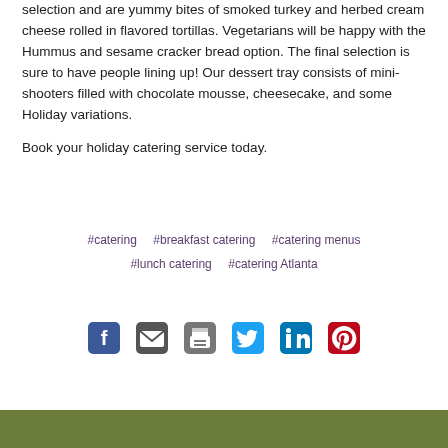selection and are yummy bites of smoked turkey and herbed cream cheese rolled in flavored tortillas. Vegetarians will be happy with the Hummus and sesame cracker bread option. The final selection is sure to have people lining up! Our dessert tray consists of mini-shooters filled with chocolate mousse, cheesecake, and some Holiday variations.
Book your holiday catering service today.
#catering  #breakfast catering  #catering menus  #lunch catering  #catering Atlanta
[Figure (infographic): Social media sharing icons: Facebook, Email, Print, Twitter, LinkedIn, Pinterest]